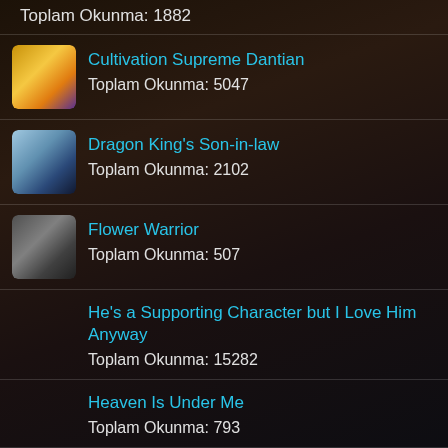Toplam Okunma: 1882
Cultivation Supreme Dantian
Toplam Okunma: 5047
Dragon King's Son-in-law
Toplam Okunma: 2102
Flower Warrior
Toplam Okunma: 507
He's a Supporting Character but I Love Him Anyway
Toplam Okunma: 15282
Heaven Is Under Me
Toplam Okunma: 793
Her Summon
Toplam Okunma: 213106